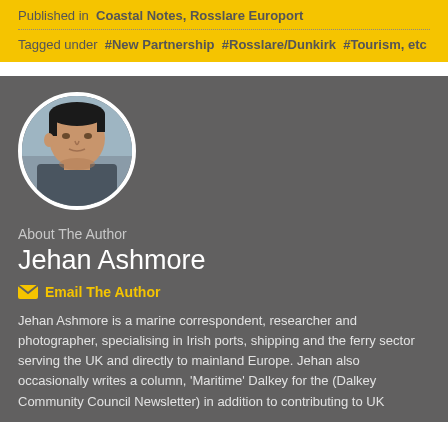Published in  Coastal Notes, Rosslare Europort
Tagged under  #New Partnership  #Rosslare/Dunkirk  #Tourism, etc
[Figure (photo): Circular portrait photo of Jehan Ashmore, a man with dark hair, looking to the side, outdoors with a blurred background.]
About The Author
Jehan Ashmore
Email The Author
Jehan Ashmore is a marine correspondent, researcher and photographer, specialising in Irish ports, shipping and the ferry sector serving the UK and directly to mainland Europe. Jehan also occasionally writes a column, 'Maritime' Dalkey for the (Dalkey Community Council Newsletter) in addition to contributing to UK